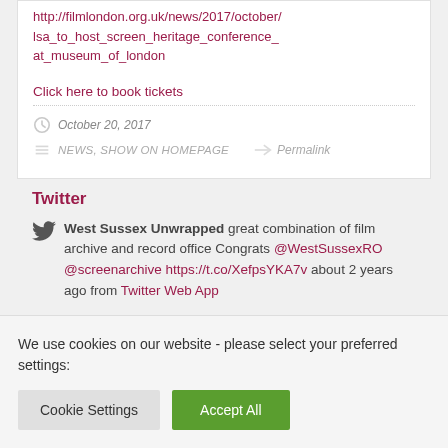http://filmlondon.org.uk/news/2017/october/lsa_to_host_screen_heritage_conference_at_museum_of_london
Click here to book tickets
October 20, 2017
NEWS, SHOW ON HOMEPAGE  Permalink
Twitter
West Sussex Unwrapped great combination of film archive and record office Congrats @WestSussexRO @screenarchive https://t.co/XefpsYKA7v about 2 years ago from Twitter Web App
We use cookies on our website - please select your preferred settings: